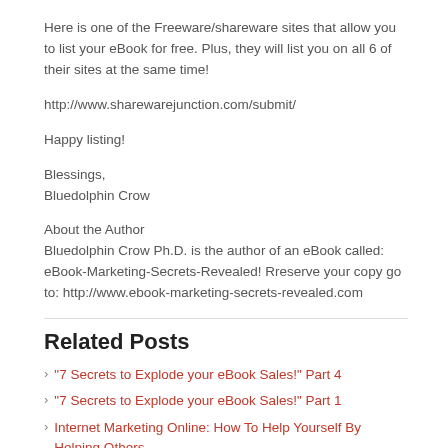Here is one of the Freeware/shareware sites that allow you to list your eBook for free. Plus, they will list you on all 6 of their sites at the same time!
http://www.sharewarejunction.com/submit/
Happy listing!
Blessings,
Bluedolphin Crow
About the Author
Bluedolphin Crow Ph.D. is the author of an eBook called: eBook-Marketing-Secrets-Revealed! Rreserve your copy go to: http://www.ebook-marketing-secrets-revealed.com
Related Posts
"7 Secrets to Explode your eBook Sales!" Part 4
"7 Secrets to Explode your eBook Sales!" Part 1
Internet Marketing Online: How To Help Yourself By Helping Others